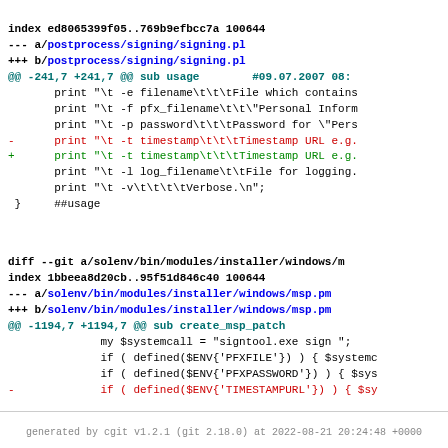index ed8065399f05..769b9efbcc7a 100644
--- a/postprocess/signing/signing.pl
+++ b/postprocess/signing/signing.pl
@@ -241,7 +241,7 @@ sub usage        #09.07.2007 08:
        print "\t -e filename\t\t\tFile which contains
        print "\t -f pfx_filename\t\t\"Personal Inform
        print "\t -p password\t\t\tPassword for \"Pers
-       print "\t -t timestamp\t\t\tTimestamp URL e.g.
+       print "\t -t timestamp\t\t\tTimestamp URL e.g.
        print "\t -l log_filename\t\tFile for logging.
        print "\t -v\t\t\t\tVerbose.\n";
 }      ##usage
diff --git a/solenv/bin/modules/installer/windows/m
index 1bbeea8d20cb..95f51d846c40 100644
--- a/solenv/bin/modules/installer/windows/msp.pm
+++ b/solenv/bin/modules/installer/windows/msp.pm
@@ -1194,7 +1194,7 @@ sub create_msp_patch
              my $systemcall = "signtool.exe sign ";
              if ( defined($ENV{'PFXFILE'}) ) { $systemc
              if ( defined($ENV{'PFXPASSWORD'}) ) { $sys
-             if ( defined($ENV{'TIMESTAMPURL'}) ) { $sy
+             if ( defined($ENV{'TIMESTAMPURL'}) ) { $sy
              $systemcall .= "-d \"" . $allvariables->{"
              $systemcall .= $localmspfilename;
              installer::logger::print_message( "... cod
generated by cgit v1.2.1 (git 2.18.0) at 2022-08-21 20:24:48 +0000